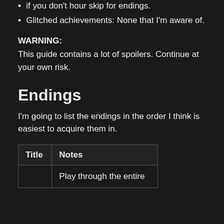if you don't hour skip for endings.
Glitched achievements: None that I'm aware of.
WARNING:
This guide contains a lot of spoilers. Continue at your own risk.
Endings
I'm going to list the endings in the order I think is easiest to acquire them in.
| Title | Notes |
| --- | --- |
|  | Play through the entire |